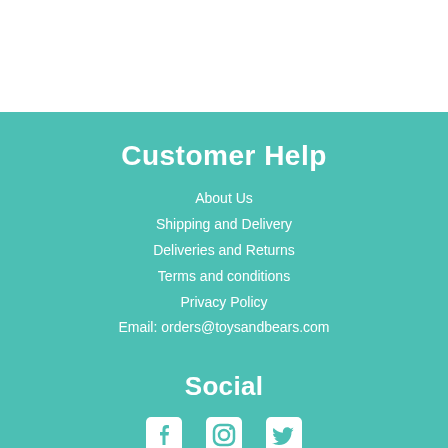Customer Help
About Us
Shipping and Delivery
Deliveries and Returns
Terms and conditions
Privacy Policy
Email: orders@toysandbears.com
Social
[Figure (illustration): Three social media icons: Facebook, Instagram, Twitter, displayed in white on teal background]